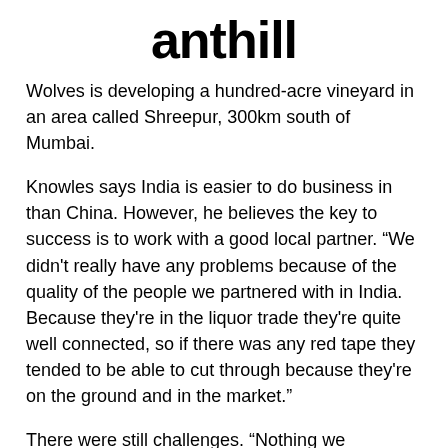anthill
Wolves is developing a hundred-acre vineyard in an area called Shreepur, 300km south of Mumbai.
Knowles says India is easier to do business in than China. However, he believes the key to success is to work with a good local partner. “We didn't really have any problems because of the quality of the people we partnered with in India. Because they're in the liquor trade they're quite well connected, so if there was any red tape they tended to be able to cut through because they're on the ground and in the market.”
There were still challenges. “Nothing we expected to be hard was easy,” says Knowles. “When we go over there, it's expensive and just booking a hotel room is difficult. If something should take a month, in India it will take two months.
“The only thing that was easier than anticipated was working with the